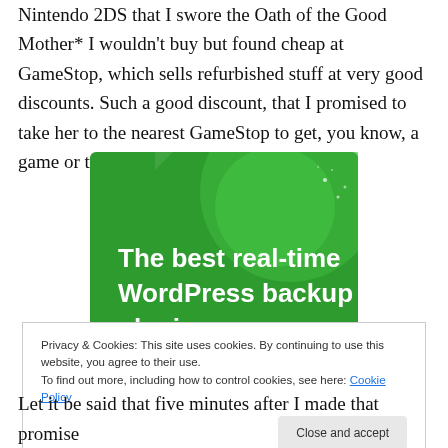Nintendo 2DS that I swore the Oath of the Good Mother* I wouldn't buy but found cheap at GameStop, which sells refurbished stuff at very good discounts. Such a good discount, that I promised to take her to the nearest GameStop to get, you know, a game or two to play on it.
[Figure (illustration): Green banner advertisement reading 'The best real-time WordPress backup plugin' in bold white text on a green background with lighter green circular shapes]
Privacy & Cookies: This site uses cookies. By continuing to use this website, you agree to their use.
To find out more, including how to control cookies, see here: Cookie Policy
Let it be said that five minutes after I made that promise